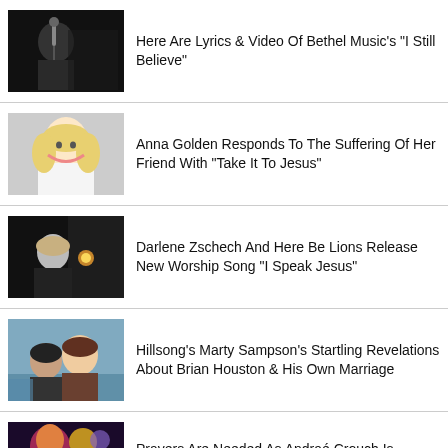[Figure (photo): Person at microphone on dark stage]
Here Are Lyrics & Video Of Bethel Music's "I Still Believe"
[Figure (photo): Smiling blonde woman]
Anna Golden Responds To The Suffering Of Her Friend With "Take It To Jesus"
[Figure (photo): Woman in dark room with spotlight]
Darlene Zschech And Here Be Lions Release New Worship Song "I Speak Jesus"
[Figure (photo): Couple selfie outdoors]
Hillsong's Marty Sampson's Startling Revelations About Brian Houston & His Own Marriage
[Figure (photo): Colorful image with person]
Prayers Are Needed As Andraé Crouch Is